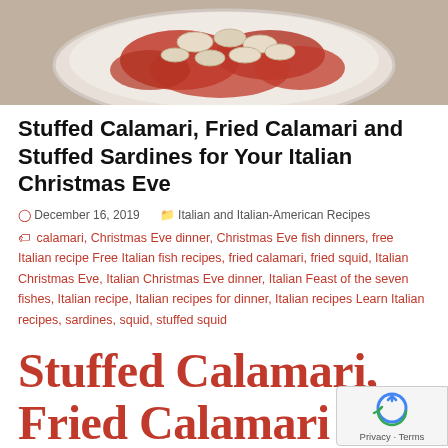[Figure (photo): Bowl of stuffed calamari in tomato sauce]
Stuffed Calamari, Fried Calamari and Stuffed Sardines for Your Italian Christmas Eve
December 16, 2019   Italian and Italian-American Recipes
calamari, Christmas Eve dinner, Christmas Eve fish dinners, free Italian recipe Free Italian fish recipes, fried calamari, fried squid, Italian Christmas Eve, Italian Christmas Eve dinner, Italian Feast of the seven fishes, Italian recipe, Italian recipes for dinner, Italian recipes Learn Italian recipes, sardines, squid, stuffed squid
Stuffed Calamari, Fried Calamari